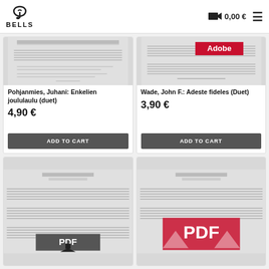BELLS  0,00 €
[Figure (photo): Sheet music thumbnail for Pohjanmies Enkelien joululaulu duet]
Pohjanmies, Juhani: Enkelien joululaulu (duet)
4,90 €
ADD TO CART
[Figure (photo): Sheet music thumbnail for Wade Adeste fideles Duet with Adobe watermark]
Wade, John F.: Adeste fideles (Duet)
3,90 €
ADD TO CART
[Figure (photo): Sheet music thumbnail with PDF download icon]
[Figure (photo): Sheet music thumbnail with PDF watermark]